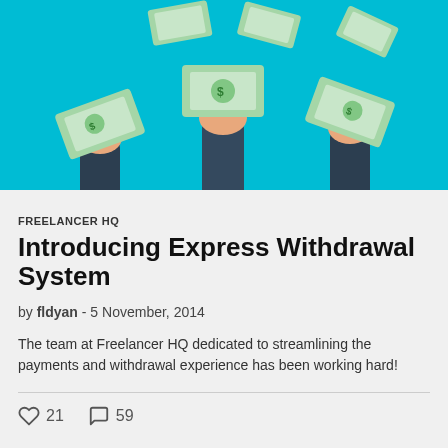[Figure (illustration): Illustration of three hands holding up money/dollar bills against a teal/turquoise background, representing freelancer payments and withdrawals.]
FREELANCER HQ
Introducing Express Withdrawal System
by fldyan - 5 November, 2014
The team at Freelancer HQ dedicated to streamlining the payments and withdrawal experience has been working hard!
21  59